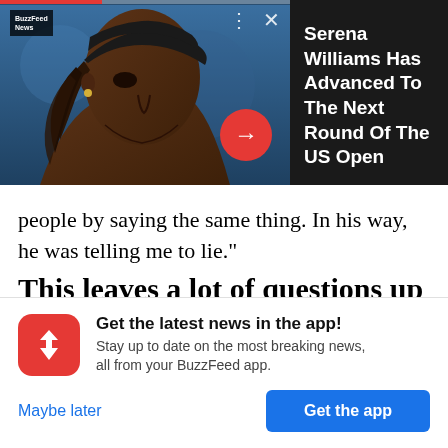[Figure (screenshot): BuzzFeed News video thumbnail showing a close-up of Serena Williams with a red progress bar at top, video controls (three dots and X), and a red circular arrow button. Right panel shows dark background with notification text.]
Serena Williams Has Advanced To The Next Round Of The US Open
people by saying the same thing. In his way, he was telling me to lie."
This leaves a lot of questions up in the air — and a lot of people
Get the latest news in the app!
Stay up to date on the most breaking news, all from your BuzzFeed app.
Maybe later
Get the app